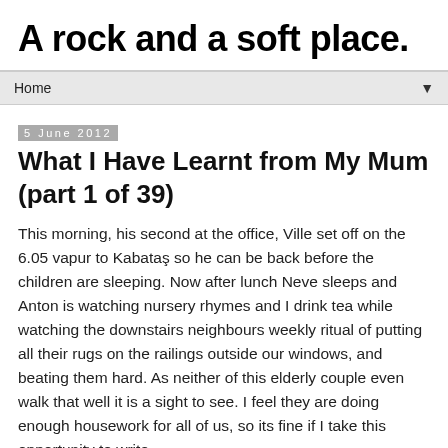A rock and a soft place.
Home ▼
5 June 2012
What I Have Learnt from My Mum (part 1 of 39)
This morning, his second at the office, Ville set off on the 6.05 vapur to Kabataş so he can be back before the children are sleeping. Now after lunch Neve sleeps and Anton is watching nursery rhymes and I drink tea while watching the downstairs neighbours weekly ritual of putting all their rugs on the railings outside our windows, and beating them hard. As neither of this elderly couple even walk that well it is a sight to see. I feel they are doing enough housework for all of us, so its fine if I take this opportunity to write.